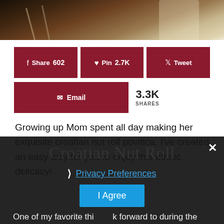[Figure (photo): Top portion of a food photo showing Croatian nut roll povitica dusted with powdered sugar in a baking pan]
[Figure (screenshot): Social share buttons: Facebook Share 602, Pinterest Pin 2.7K, Twitter Tweet, Email, with 3.3K total shares]
Growing up Mom spent all day making her exquisite croatian nut roll povitica. I've created an easy way for you to enjoy this ethnic delicacy!
Croatian Nut Roll
Privacy Preferences
I Agree
One of my favorite things to look forward to during the holiday season as a kid? My Mom's Croatian nut